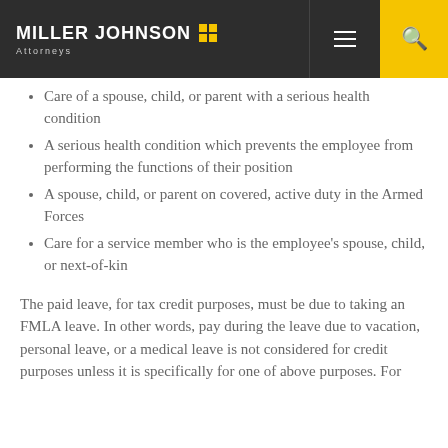Miller Johnson Attorneys — navigation bar
Care of a spouse, child, or parent with a serious health condition
A serious health condition which prevents the employee from performing the functions of their position
A spouse, child, or parent on covered, active duty in the Armed Forces
Care for a service member who is the employee's spouse, child, or next-of-kin
The paid leave, for tax credit purposes, must be due to taking an FMLA leave. In other words, pay during the leave due to vacation, personal leave, or a medical leave is not considered for credit purposes unless it is specifically for one of above purposes. For